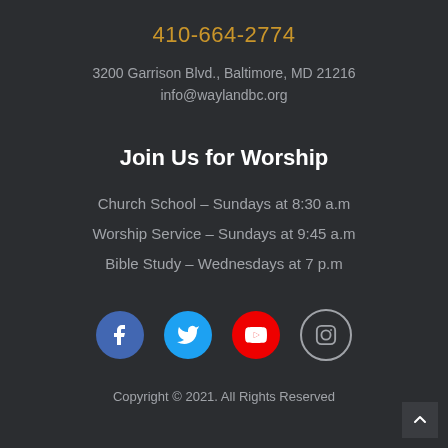410-664-2774
3200 Garrison Blvd., Baltimore, MD 21216
info@waylandbc.org
Join Us for Worship
Church School – Sundays at 8:30 a.m
Worship Service – Sundays at 9:45 a.m
Bible Study – Wednesdays at 7 p.m
[Figure (infographic): Social media icons: Facebook (blue circle), Twitter (sky blue circle), YouTube (red circle), Instagram (outline circle)]
Copyright © 2021. All Rights Reserved